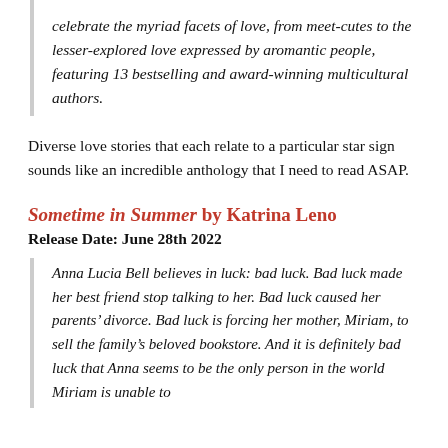celebrate the myriad facets of love, from meet-cutes to the lesser-explored love expressed by aromantic people, featuring 13 bestselling and award-winning multicultural authors.
Diverse love stories that each relate to a particular star sign sounds like an incredible anthology that I need to read ASAP.
Sometime in Summer by Katrina Leno
Release Date: June 28th 2022
Anna Lucia Bell believes in luck: bad luck. Bad luck made her best friend stop talking to her. Bad luck caused her parents' divorce. Bad luck is forcing her mother, Miriam, to sell the family's beloved bookstore. And it is definitely bad luck that Anna seems to be the only person in the world Miriam is unable to...